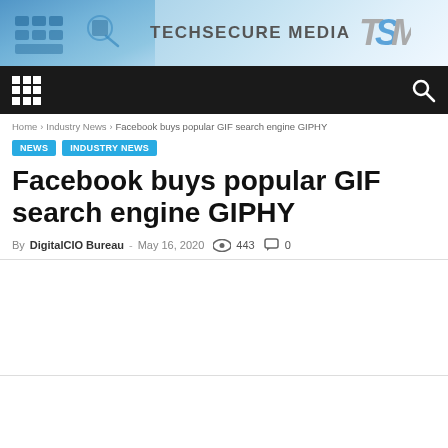[Figure (screenshot): TechSecure Media website header banner with blue tech/keyboard background image on left and TSM logo on right]
TECHSECURE MEDIA TSM
[Figure (screenshot): Dark navigation bar with grid/hamburger menu icon on left and search icon on right]
Home › Industry News › Facebook buys popular GIF search engine GIPHY
NEWS  INDUSTRY NEWS
Facebook buys popular GIF search engine GIPHY
By DigitalCIO Bureau - May 16, 2020  443  0